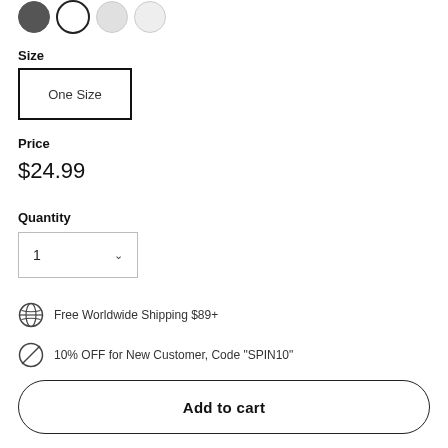[Figure (illustration): Color swatch circles: dark grey, black (selected/outlined), light grey, lighter grey]
Size
One Size
Price
$24.99
Quantity
1
Free Worldwide Shipping $89+
10% OFF for New Customer, Code "SPIN10"
Add to cart